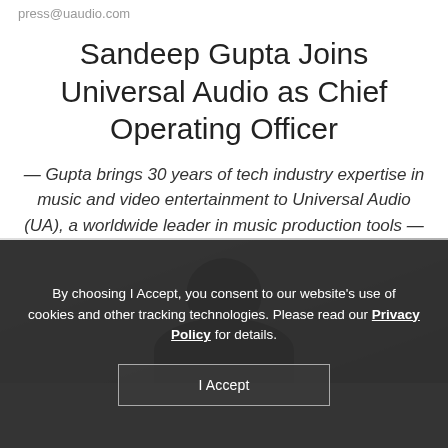press@uaudio.com
Sandeep Gupta Joins Universal Audio as Chief Operating Officer
— Gupta brings 30 years of tech industry expertise in music and video entertainment to Universal Audio (UA), a worldwide leader in music production tools —
[Figure (photo): Photo of Sandeep Gupta, showing the top of his head with dark hair against a blurred office background]
By choosing I Accept, you consent to our website's use of cookies and other tracking technologies. Please read our Privacy Policy for details. I Accept